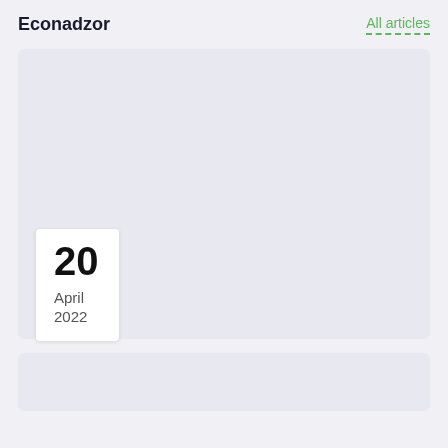Econadzor
All articles
[Figure (other): Article card placeholder image area with light blue-grey background]
20
April
2022